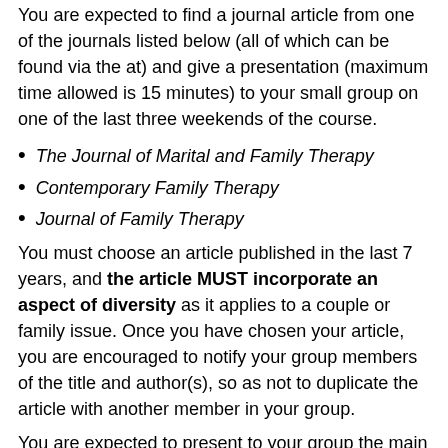You are expected to find a journal article from one of the journals listed below (all of which can be found via the at) and give a presentation (maximum time allowed is 15 minutes) to your small group on one of the last three weekends of the course.
The Journal of Marital and Family Therapy
Contemporary Family Therapy
Journal of Family Therapy
You must choose an article published in the last 7 years, and the article MUST incorporate an aspect of diversity as it applies to a couple or family issue. Once you have chosen your article, you are encouraged to notify your group members of the title and author(s), so as not to duplicate the article with another member in your group.
You are expected to present to your group the main points and your critique of the article, and summarize